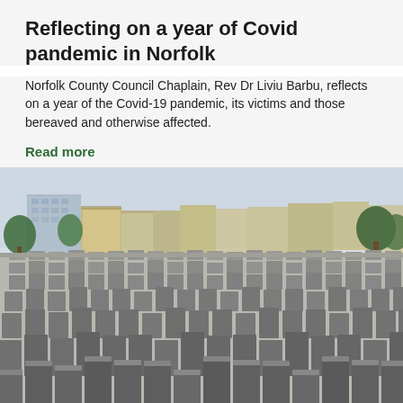Reflecting on a year of Covid pandemic in Norfolk
Norfolk County Council Chaplain, Rev Dr Liviu Barbu, reflects on a year of the Covid-19 pandemic, its victims and those bereaved and otherwise affected.
Read more
[Figure (photo): Photograph of the Holocaust Memorial in Berlin showing rows of grey concrete slab monuments of varying heights with city buildings visible in the background under a light sky.]